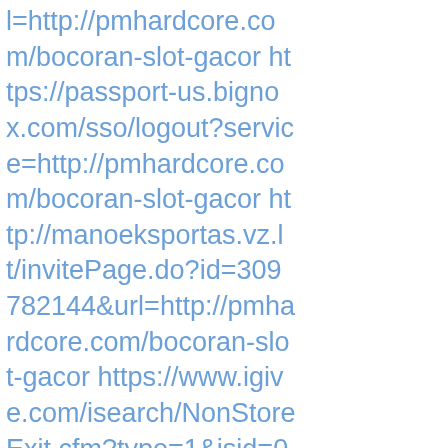l=http://pmhardcore.com/bocoran-slot-gacor https://passport-us.bignox.com/sso/logout?service=http://pmhardcore.com/bocoran-slot-gacor http://manoeksportas.vz.lt/invitePage.do?id=309782144&url=http://pmhardcore.com/bocoran-slot-gacor https://www.igive.com/isearch/NonStoreExit.cfm?type=1&isid=0df7d37f-4feb-4f0f-b472-1df60f43914d&rurl=http://pmhardcore.com/bocoran-slot-gacor http://www.ia.omron.com/view/log/redirect/index.cgi?url=http://pmhardcore.com/bocoran-slot-gacor https://frekvensregister.ens.dk/Common/ModalFrameset.aspx?title=Result&scrolling=auto&url=http://